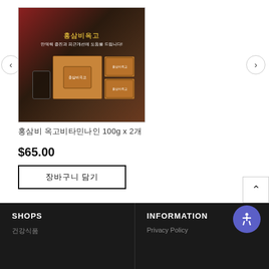[Figure (photo): Product image of Korean red ginseng (홍삼비옥고) supplement with boxes and a glass of the product on a decorative background. Navigation arrows on left and right sides of carousel.]
홍삼비 옥고비타민나인 100g x 2개
$65.00
장바구니 담기
SHOPS
건강식품

INFORMATION
Privacy Policy